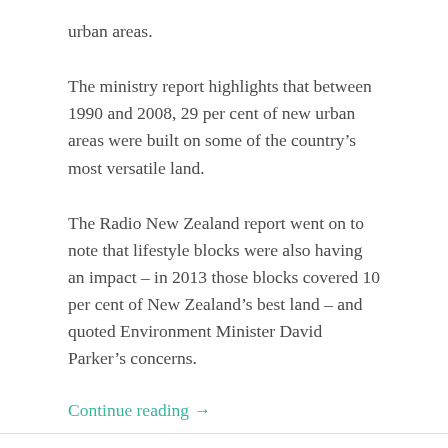urban areas.
The ministry report highlights that between 1990 and 2008, 29 per cent of new urban areas were built on some of the country’s most versatile land.
The Radio New Zealand report went on to note that lifestyle blocks were also having an impact – in 2013 those blocks covered 10 per cent of New Zealand’s best land – and quoted Environment Minister David Parker’s concerns.
Continue reading →